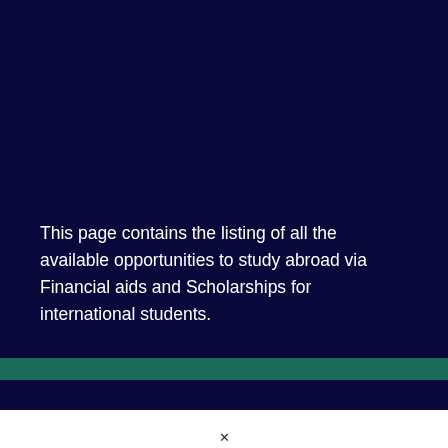This page contains the listing of all the available opportunities to study abroad via Financial aids and Scholarships for international students.